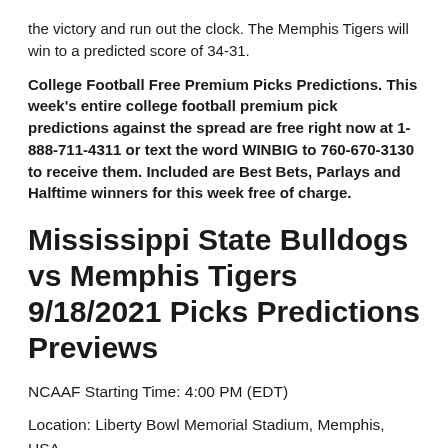the victory and run out the clock. The Memphis Tigers will win to a predicted score of 34-31.
College Football Free Premium Picks Predictions. This week's entire college football premium pick predictions against the spread are free right now at 1-888-711-4311 or text the word WINBIG to 760-670-3130 to receive them. Included are Best Bets, Parlays and Halftime winners for this week free of charge.
Mississippi State Bulldogs vs Memphis Tigers 9/18/2021 Picks Predictions Previews
NCAAF Starting Time: 4:00 PM (EDT)
Location: Liberty Bowl Memorial Stadium, Memphis, USA